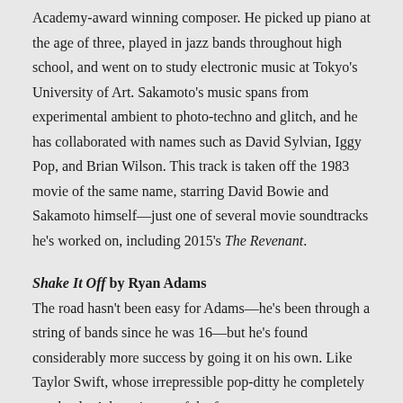Academy-award winning composer. He picked up piano at the age of three, played in jazz bands throughout high school, and went on to study electronic music at Tokyo's University of Art. Sakamoto's music spans from experimental ambient to photo-techno and glitch, and he has collaborated with names such as David Sylvian, Iggy Pop, and Brian Wilson. This track is taken off the 1983 movie of the same name, starring David Bowie and Sakamoto himself—just one of several movie soundtracks he's worked on, including 2015's The Revenant.
Shake It Off by Ryan Adams
The road hasn't been easy for Adams—he's been through a string of bands since he was 16—but he's found considerably more success by going it on his own. Like Taylor Swift, whose irrepressible pop-ditty he completely overhauls, Adams is one of the few